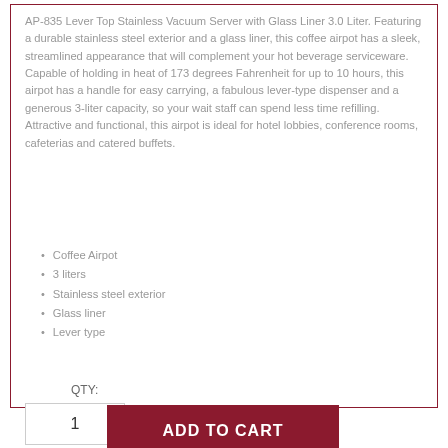AP-835 Lever Top Stainless Vacuum Server with Glass Liner 3.0 Liter. Featuring a durable stainless steel exterior and a glass liner, this coffee airpot has a sleek, streamlined appearance that will complement your hot beverage serviceware. Capable of holding in heat of 173 degrees Fahrenheit for up to 10 hours, this airpot has a handle for easy carrying, a fabulous lever-type dispenser and a generous 3-liter capacity, so your wait staff can spend less time refilling. Attractive and functional, this airpot is ideal for hotel lobbies, conference rooms, cafeterias and catered buffets.
Coffee Airpot
3 liters
Stainless steel exterior
Glass liner
Lever type
QTY:
1
ADD TO CART